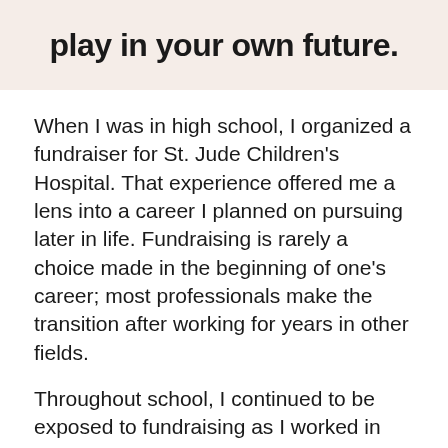play in your own future.
When I was in high school, I organized a fundraiser for St. Jude Children's Hospital. That experience offered me a lens into a career I planned on pursuing later in life. Fundraising is rarely a choice made in the beginning of one's career; most professionals make the transition after working for years in other fields.
Throughout school, I continued to be exposed to fundraising as I worked in the development office of my university. I quickly realized how much I enjoyed engaging with